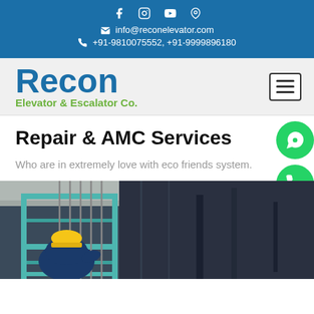info@reconelevator.com | +91-9810075552, +91-9999896180
Recon Elevator & Escalator Co.
Repair & AMC Services
Who are in extremely love with eco friendly system.
[Figure (photo): Technician working inside elevator shaft, wearing blue uniform and yellow hard hat, with teal metal framework and cables visible overhead.]